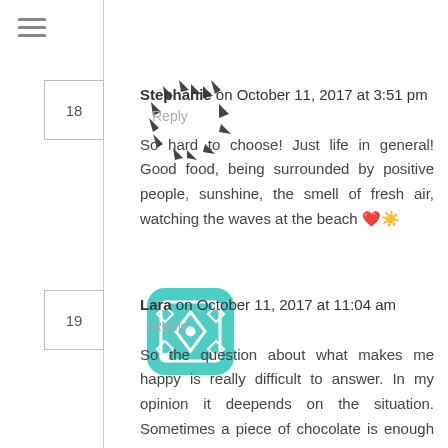[Figure (illustration): Hamburger menu icon (three horizontal lines)]
Stephanie on October 11, 2017 at 3:51 pm   Reply
[Figure (illustration): Avatar with dark triangle/arrow pattern arranged in a circular starburst shape]
So hard to choose! Just life in general! Good food, being surrounded by positive people, sunshine, the smell of fresh air, watching the waves at the beach ❤️☀️
Lara on October 11, 2017 at 11:04 am   Reply
[Figure (illustration): Avatar with teal/turquoise rounded square containing diamond/rhombus pattern]
So the question about what makes me happy is really difficult to answer. In my opinion it deepends on the situation. Sometimes a piece of chocolate is enough to make me happy. Otherwise I need to do sports or just to call my best friend in